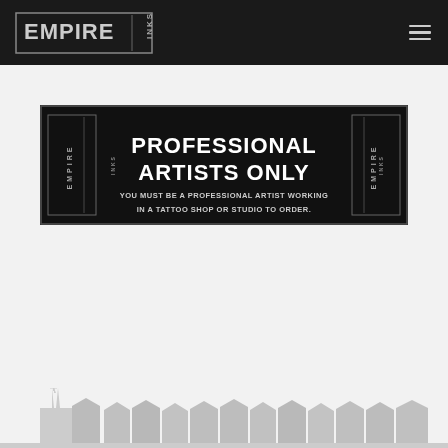Empire Inks — navigation header with logo and hamburger menu
[Figure (infographic): Black banner reading PROFESSIONAL ARTISTS ONLY with text YOU MUST BE A PROFESSIONAL ARTIST WORKING IN A TATTOO SHOP OR STUDIO TO ORDER. Empire Inks logos on left and right sides.]
[Figure (illustration): Gray cityscape silhouette with building spires and rooftops at bottom of page]